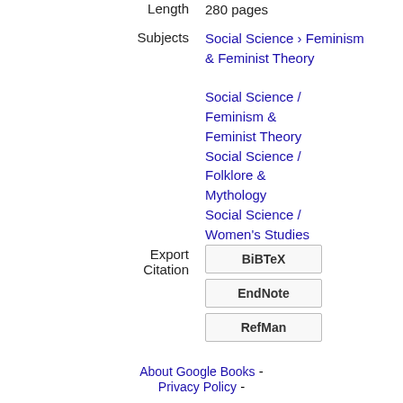Length   280 pages
Subjects   Social Science › Feminism & Feminist Theory

Social Science / Feminism & Feminist Theory
Social Science / Folklore & Mythology
Social Science / Women's Studies
Export Citation   BiBTeX   EndNote   RefMan
About Google Books - Privacy Policy -